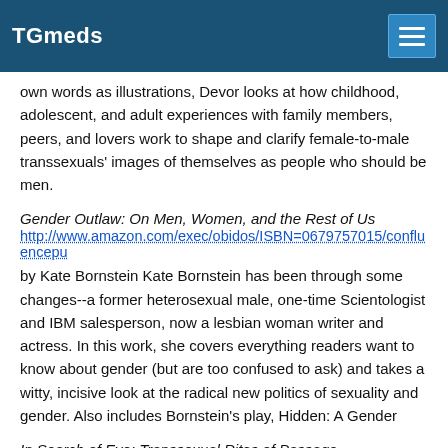TGmeds
own words as illustrations, Devor looks at how childhood, adolescent, and adult experiences with family members, peers, and lovers work to shape and clarify female-to-male transsexuals' images of themselves as people who should be men.
Gender Outlaw: On Men, Women, and the Rest of Us
http://www.amazon.com/exec/obidos/ISBN=0679757015/confluencepu
by Kate Bornstein Kate Bornstein has been through some changes--a former heterosexual male, one-time Scientologist and IBM salesperson, now a lesbian woman writer and actress. In this work, she covers everything readers want to know about gender (but are too confused to ask) and takes a witty, incisive look at the radical new politics of sexuality and gender. Also includes Bornstein's play, Hidden: A Gender
In Search of Eve: Transsexual Rites of Passage
http://www.amazon.com/exec/obidos/ISBN=0897891155/confluencepu
by Anne Bolin In Search of Eve is an absorbing account of the sociocultural aspects of gender transition. . . . [Bolin] has produced a carefully crafted, clearly written monograph which scholars of both sexuality and gender can profitably read. I would recommend